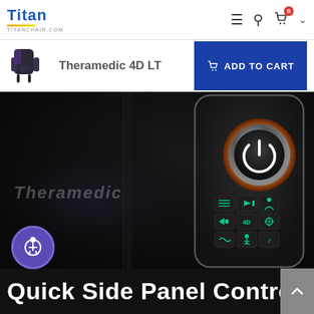Titan TITANCHAIR.COM — navigation header with hamburger menu, search, and cart icons
Theramedic 4D LT
ADD TO CART
[Figure (photo): Close-up photo of a massage chair side panel controller with a large illuminated power button with copper/chrome ring, and a grid of smaller teal icon buttons below, on a dark background with Theramedic watermark text]
Quick Side Panel Controlle